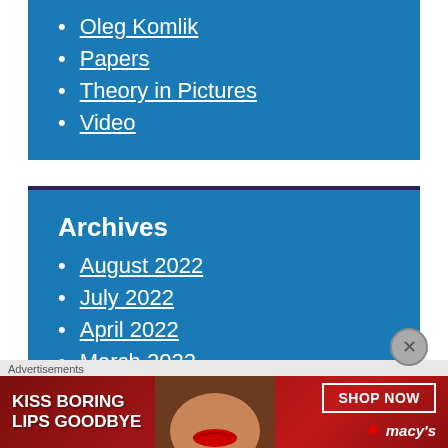Oleg Komlik
Papers
Theory in Pictures
Video
Archives
August 2022
July 2022
April 2022
March 2022
[Figure (illustration): Macy's advertisement banner: KISS BORING LIPS GOODBYE with SHOP NOW button and Macy's star logo]
Advertisements